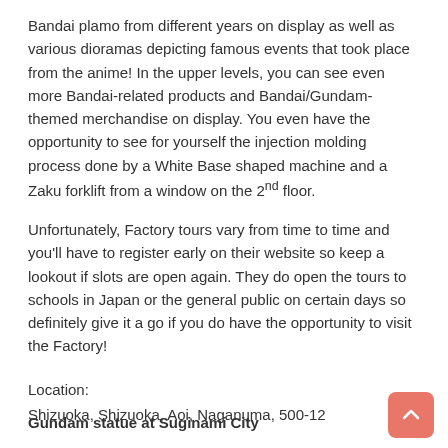Bandai plamo from different years on display as well as various dioramas depicting famous events that took place from the anime! In the upper levels, you can see even more Bandai-related products and Bandai/Gundam-themed merchandise on display. You even have the opportunity to see for yourself the injection molding process done by a White Base shaped machine and a Zaku forklift from a window on the 2nd floor.
Unfortunately, Factory tours vary from time to time and you'll have to register early on their website so keep a lookout if slots are open again. They do open the tours to schools in Japan or the general public on certain days so definitely give it a go if you do have the opportunity to visit the Factory!
Location:
Shizuoka, Shizuoka, Aoi, Naganuma, 500-12
Gundam statue at Suginami City